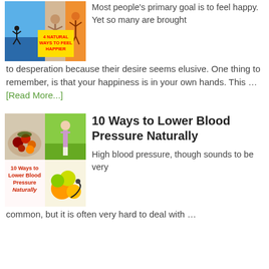[Figure (photo): Collage of 3 images about feeling happy, with yellow text overlay '4 Natural Ways to Feel Happier']
Most people's primary goal is to feel happy. Yet so many are brought to desperation because their desire seems elusive. One thing to remember, is that your happiness is in your own hands. This … [Read More...]
[Figure (photo): 4-panel collage showing fruits, a woman in a park, and a book cover titled '10 Ways to Lower Blood Pressure Naturally']
10 Ways to Lower Blood Pressure Naturally
High blood pressure, though sounds to be very common, but it is often very hard to deal with ...